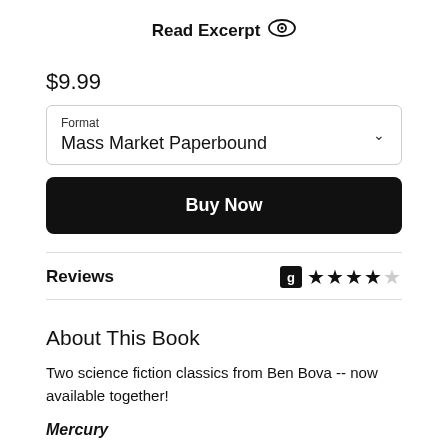Read Excerpt
$9.99
Format
Mass Market Paperbound
Buy Now
Reviews
About This Book
Two science fiction classics from Ben Bova -- now available together!
Mercury